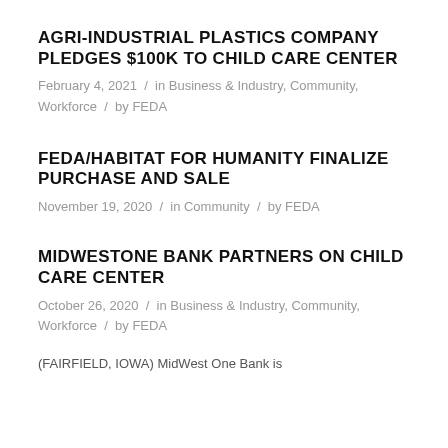AGRI-INDUSTRIAL PLASTICS COMPANY PLEDGES $100K TO CHILD CARE CENTER
February 4, 2021 / in Business & Industry, Community, Workforce / by FEDA
FEDA/HABITAT FOR HUMANITY FINALIZE PURCHASE AND SALE
November 19, 2020 / in Community / by FEDA
MIDWESTONE BANK PARTNERS ON CHILD CARE CENTER
October 26, 2020 / in Business & Industry, Community, Workforce / by FEDA
(FAIRFIELD, IOWA) MidWest One Bank is...